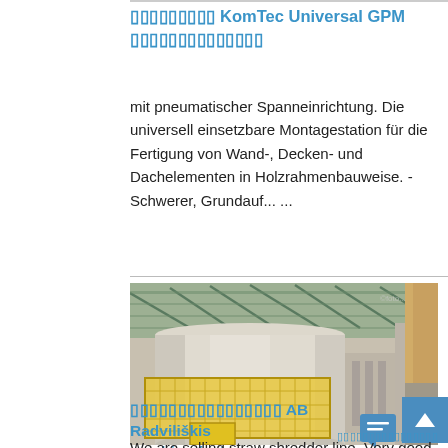▯▯▯▯▯▯▯▯▯ KomTec Universal GPM ▯▯▯▯▯▯▯▯▯▯▯▯▯▯
mit pneumatischer Spanneinrichtung. Die universell einsetzbare Montagestation für die Fertigung von Wand-, Decken- und Dachelementen in Holzrahmenbauweise. - Schwerer, Grundauf... ...
[Figure (photo): Industrial facility interior showing a large cylindrical silo or tank structure with yellow metal safety fencing/grating, inside a warehouse building with a green/blue roof structure visible overhead.]
▯▯▯▯▯▯▯▯▯▯▯▯▯▯▯▯ AB Radviliškis machine factory
We are selling straw shredder line. Very good